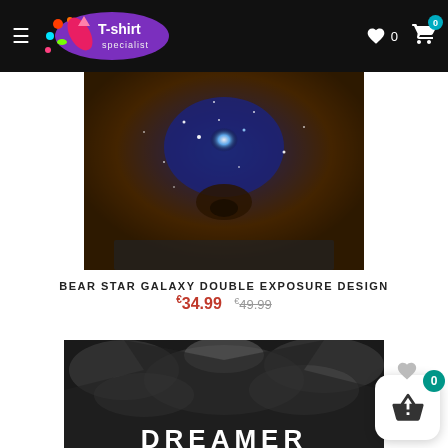T-shirt Specialist – navigation header with hamburger menu, logo, heart wishlist icon (0), cart icon (0)
[Figure (photo): Close-up product photo of a bear/galaxy double exposure design on a t-shirt/sweatshirt, showing a bear face merged with a starry galaxy blue light effect]
BEAR STAR GALAXY DOUBLE EXPOSURE DESIGN
€34.99  €49.99 (strikethrough)
[Figure (photo): Black and white photo of a sweatshirt back with 'DREAMER' text printed in white bold letters, galaxy/cloud pattern all over print]
0 (cart badge floating)